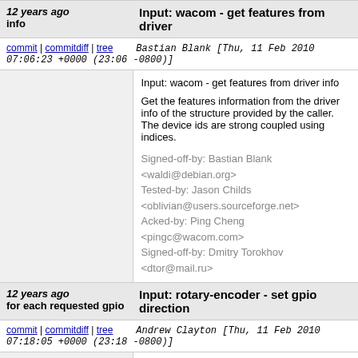12 years ago — Input: wacom - get features from driver info
commit | commitdiff | tree   Bastian Blank [Thu, 11 Feb 2010 07:06:23 +0000 (23:06 -0800)]
Input: wacom - get features from driver info

Get the features information from the driver info of the structure provided by the caller. The device ids are strong coupled using indices.

Signed-off-by: Bastian Blank <waldi@debian.org>
Tested-by: Jason Childs <oblivian@users.sourceforge.net>
Acked-by: Ping Cheng <pingc@wacom.com>
Signed-off-by: Dmitry Torokhov <dtor@mail.ru>
12 years ago — Input: rotary-encoder - set gpio direction for each requested gpio
commit | commitdiff | tree   Andrew Clayton [Thu, 11 Feb 2010 07:18:05 +0000 (23:18 -0800)]
Input: rotary-encoder - set gpio direction for each requested gpio

Even with the correct pin mux settings, you still ne